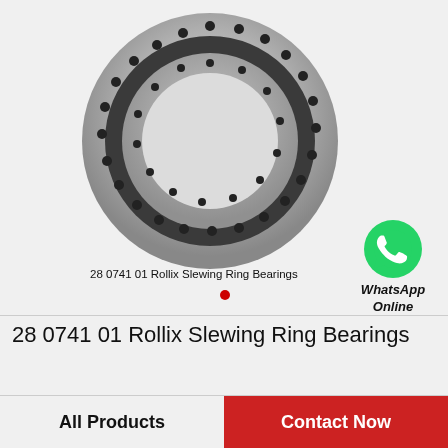[Figure (photo): Slewing ring bearing (28 0741 01 Rollix) shown as a large metallic circular ring with bolt holes around the flange, photographed on a white/light gray background. WhatsApp Online icon shown at right.]
28 0741 01 Rollix Slewing Ring Bearings
28 0741 01 Rollix Slewing Ring Bearings
All Products
Contact Now